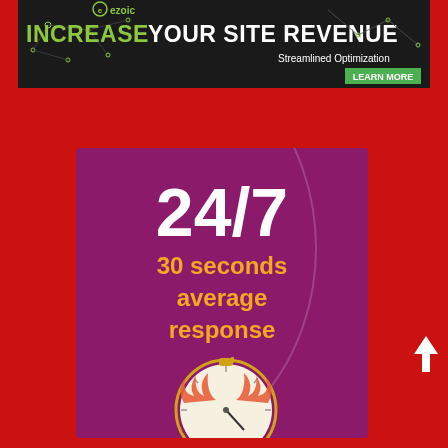[Figure (infographic): Ezoic banner advertisement: dark background with green logo and headline 'INCREASE YOUR SITE REVENUE', subtext 'Streamlined Optimization', green 'LEARN MORE' button.]
[Figure (infographic): Purple infographic card on red background showing '24/7' in large white bold text and '30 seconds average response' in orange text below, with a stopwatch illustration with flames at the bottom.]